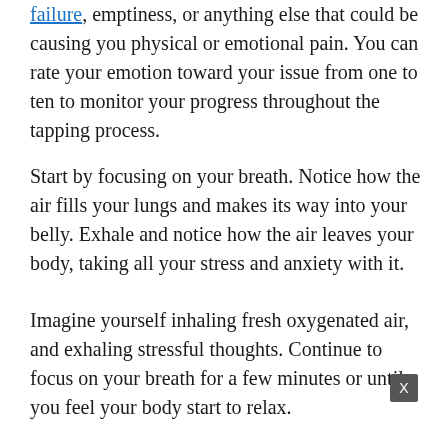failure, emptiness, or anything else that could be causing you physical or emotional pain. You can rate your emotion toward your issue from one to ten to monitor your progress throughout the tapping process.
Start by focusing on your breath. Notice how the air fills your lungs and makes its way into your belly. Exhale and notice how the air leaves your body, taking all your stress and anxiety with it.
Imagine yourself inhaling fresh oxygenated air, and exhaling stressful thoughts. Continue to focus on your breath for a few minutes or until you feel your body start to relax.
[Figure (other): Advertisement banner for Lifehack: 'Are You Living Life to the Fullest? Take this FREE assessment to find out.' with close button X]